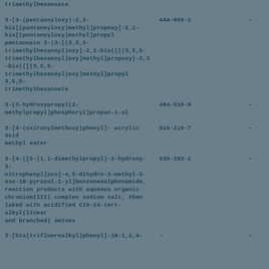| Chemical Name | EC Number |  |
| --- | --- | --- |
| trimethylhexanoate |  |  |
| 3-[3-(pentanoyloxy)-2,2-bis[(pantanoyloxy)methyl]propoxy]-2,2-bis[(pentanoyloxy)methyl]propyl pentanoate 3-(3-[(3,5,5-trimethylhexanoyl)oxy]-2,2-bis({[(3,5,5-trimethylhexanoyl)oxy]methyl}propoxy)-2,2-bis({[(3,5,5-trimethylhexanoyl)oxy]methyl}propyl 3,5,5-trimethylhexanoate | 444-000-2 | - |
| 3-[3-hydroxypropyl(2-methylpropyl)phosphoryl]propan-1-ol | 464-510-9 | - |
| 3-[4-(oxiranylmethoxy)phenyl]- acrylic acid methyl ester | 919-210-7 | - |
| 3-[4-[[5-(1,1-dimethylpropyl)-2-hydroxy-3-nitrophenyl]azo]-4,5-dihydro-3-methyl-5-oxo-1H-pyrazol-1-yl]benzenesulphonamide, reaction products with aqueous organic chromium(III) complex sodium salt, then laked with acidified C10-14-tert-alkyl(linear and branched) amines | 939-383-2 | - |
| 3-[bis(trifluoroalkyl)phenyl]-1H-1,2,4- | - |  |